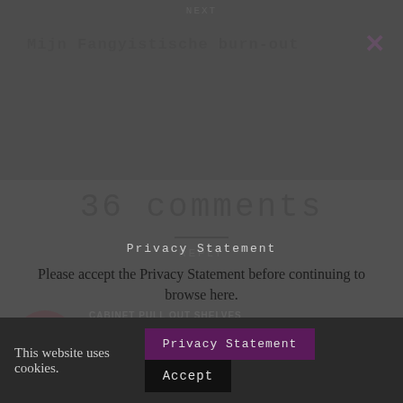NEXT
Mijn Fangyistische burn-out
36 comments
REPLY
CABINET PULL OUT SHELVES
11 JANUARY 2022 AT 08:21 / 8:21AM
Excellent post. I used to be checking
Privacy Statement
Please accept the Privacy Statement before continuing to browse here.
This website uses cookies.
Privacy Statement
Accept